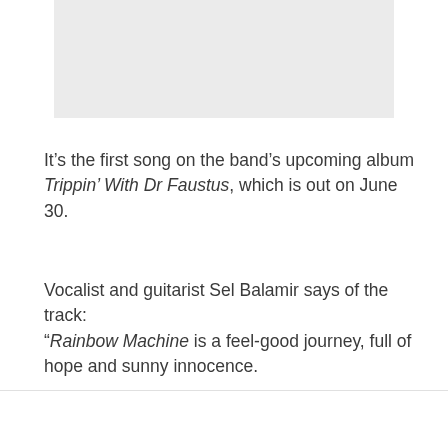[Figure (photo): Gray placeholder image block at the top of the page]
It’s the first song on the band’s upcoming album Trippin’ With Dr Faustus, which is out on June 30.
Vocalist and guitarist Sel Balamir says of the track: “Rainbow Machine is a feel-good journey, full of hope and sunny innocence.